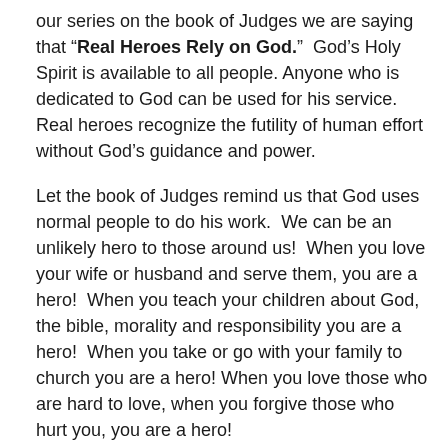our series on the book of Judges we are saying that “Real Heroes Rely on God.”  God’s Holy Spirit is available to all people. Anyone who is dedicated to God can be used for his service. Real heroes recognize the futility of human effort without God’s guidance and power.
Let the book of Judges remind us that God uses normal people to do his work.  We can be an unlikely hero to those around us!  When you love your wife or husband and serve them, you are a hero!  When you teach your children about God, the bible, morality and responsibility you are a hero!  When you take or go with your family to church you are a hero! When you love those who are hard to love, when you forgive those who hurt you, you are a hero!
Let  the book of Judges remind us of the effects of not